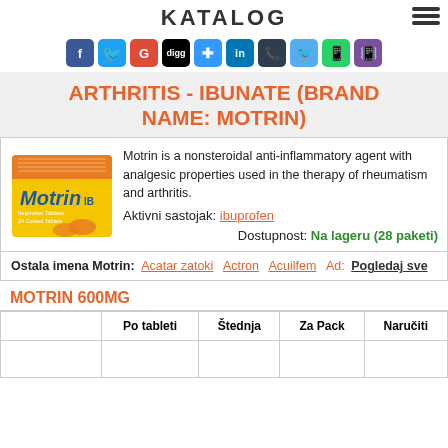KATALOG
[Figure (infographic): Row of social media sharing icons: Facebook, Twitter, Google+, Digg, Delicious, LinkedIn, dark icon, Twitter bird, WhatsApp, Viber]
ARTHRITIS - IBUNATE (BRAND NAME: MOTRIN)
[Figure (photo): Box of Motrin IB ibuprofen 24 coated tablets]
Motrin is a nonsteroidal anti-inflammatory agent with analgesic properties used in the therapy of rheumatism and arthritis.
Aktivni sastojak: ibuprofen
Dostupnost: Na lageru (28 paketi)
Ostala imena Motrin: Acatar zatoki  Actron  Acuilfem  Ad:  Pogledaj sve
MOTRIN 600MG
|  | Po tableti | Štednja | Za Pack | Naručiti |
| --- | --- | --- | --- | --- |
|  |  |  |  |  |